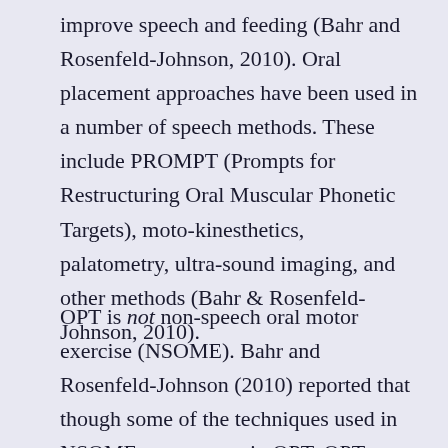improve speech and feeding (Bahr and Rosenfeld-Johnson, 2010). Oral placement approaches have been used in a number of speech methods. These include PROMPT (Prompts for Restructuring Oral Muscular Phonetic Targets), moto-kinesthetics, palatometry, ultra-sound imaging, and other methods (Bahr & Rosenfeld-Johnson, 2010).
OPT is not non-speech oral motor exercise (NSOME). Bahr and Rosenfeld-Johnson (2010) reported that though some of the techniques used in NSOME may appear in OPT, OPT targets only speech movements. Cheek puffing and/or